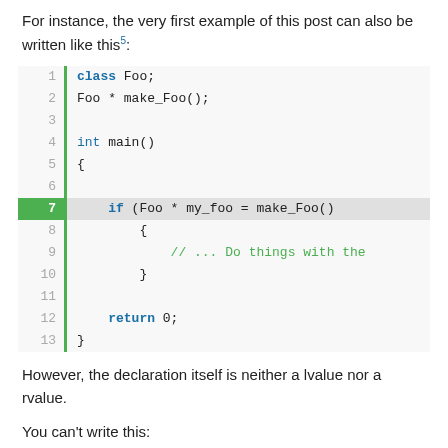For instance, the very first example of this post can also be written like this⁵:
[Figure (screenshot): Code block showing C++ code with line numbers 1-13, line 7 highlighted in green. Code shows: class Foo; Foo * make_Foo(); int main() { if (Foo * my_foo = make_Foo()) { // ... Do things with the } return 0; }]
However, the declaration itself is neither a lvalue nor a rvalue.
You can't write this: